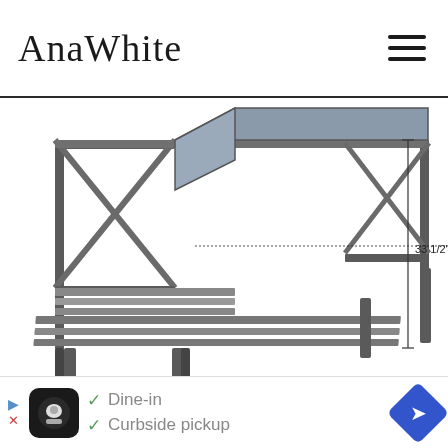AnaWhite
[Figure (engineering-diagram): 3D engineering/perspective drawing of an outdoor patio sofa/bench furniture set with dimensions labeled: 75 inches wide, 33 1/2 inches tall, and 26 inches deep. The furniture has an X-pattern on the side panels and a slatted seat.]
Preparation
[Figure (screenshot): Advertisement banner with teal background, showing Ad label, play and close icons.]
[Figure (screenshot): Bottom advertisement banner showing restaurant logo, checkmarks for Dine-in and Curbside pickup, and a blue diamond navigation icon.]